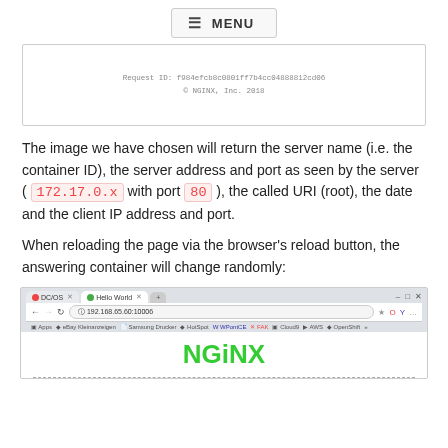MENU
[Figure (screenshot): Top portion of a browser screenshot showing NGINX request ID and copyright text]
The image we have chosen will return the server name (i.e. the container ID), the server address and port as seen by the server ( 172.17.0.x with port 80 ), the called URI (root), the date and the client IP address and port.
When reloading the page via the browser's reload button, the answering container will change randomly:
[Figure (screenshot): Browser screenshot showing NGINX logo with tabs for DC/OS and Hello World, address bar showing 192.168.65.60:10006]